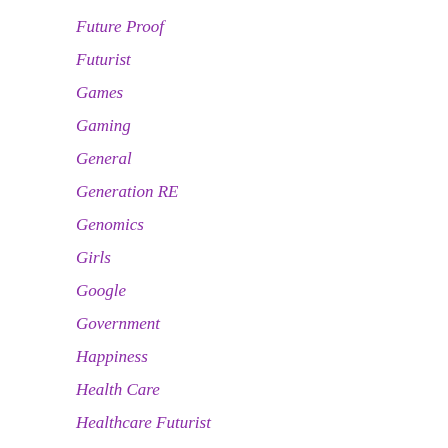Future Proof
Futurist
Games
Gaming
General
Generation RE
Genomics
Girls
Google
Government
Happiness
Health Care
Healthcare Futurist
Higher Education
History